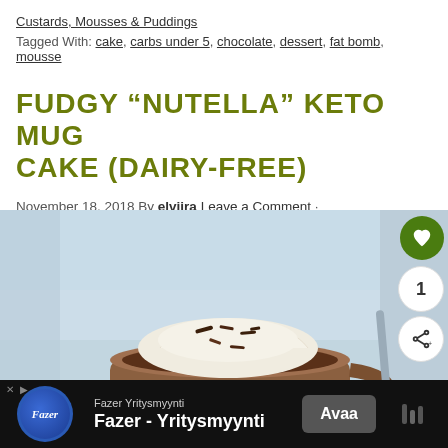Custards, Mousses & Puddings
Tagged With: cake, carbs under 5, chocolate, dessert, fat bomb, mousse
FUDGY “NUTELLA” KETO MUG CAKE (DAIRY-FREE)
November 18, 2018 By elviira Leave a Comment
[Figure (photo): A mug cake with whipped cream and chocolate shavings on top, set against a light blue background]
Fazer Yritysmyynti  Fazer - Yritysmyynti  Avaa